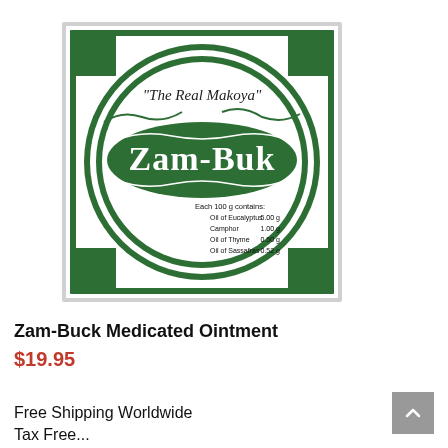[Figure (illustration): Zam-Buk Medicated Ointment tin label. Green and white square label with dark green border corners. Central circle with 'The Real Makoya' in script, 'Zam-Buk' in large bold stylized text on a green banner, and ingredient list: Each 100g contains: Oil of Eucalyptus 5.00g, Camphor 1.00g, Oil of Thyme 0.50g, Oil of Sassafras 0.52g.]
Zam-Buck Medicated Ointment
$19.95
Free Shipping Worldwide
Tax Free...